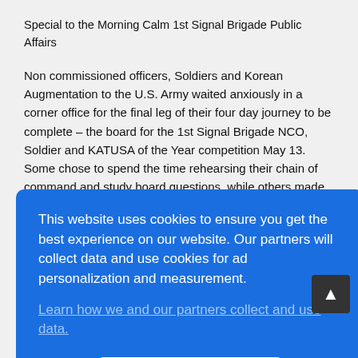Special to the Morning Calm 1st Signal Brigade Public Affairs
Non commissioned officers, Soldiers and Korean Augmentation to the U.S. Army waited anxiously in a corner office for the final leg of their four day journey to be complete – the board for the 1st Signal Brigade NCO, Soldier and KATUSA of the Year competition May 13. Some chose to spend the time rehearsing their chain of command and study board questions, while others made idle conversation with each other. Later [text continues behind modal]
[Figure (screenshot): Cookie consent modal overlay with blue background. Text reads: 'This website uses cookies to ensure you get the best experience on our website. Our partners will collect data and use cookies for ad personalization and measurement.' followed by a link 'Learn how we and our partners collect and use data.' and an OK button.]
competition is not just a board. It is an overall competition; we get the